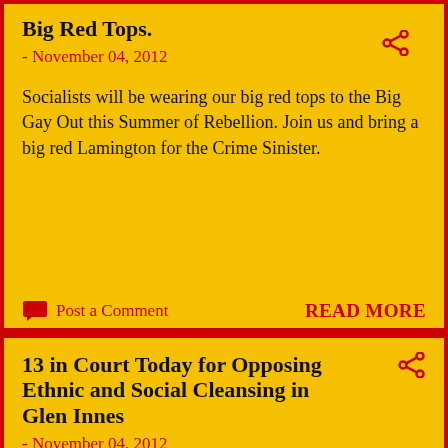Big Red Tops.
- November 04, 2012
Socialists will be wearing our big red tops to the Big Gay Out this Summer of Rebellion. Join us and bring a big red Lamington for the Crime Sinister.
Post a Comment
READ MORE
13 in Court Today for Opposing Ethnic and Social Cleansing in Glen Innes
- November 04, 2012